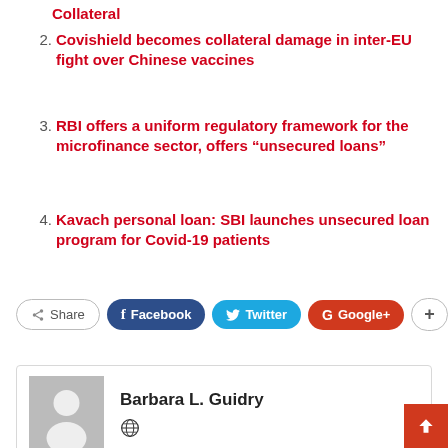Collateral
2. Covishield becomes collateral damage in inter-EU fight over Chinese vaccines
3. RBI offers a uniform regulatory framework for the microfinance sector, offers “unsecured loans”
4. Kavach personal loan: SBI launches unsecured loan program for Covid-19 patients
[Figure (other): Social share buttons: Share, Facebook, Twitter, Google+, plus button]
[Figure (other): Author card with avatar placeholder showing Barbara L. Guidry with a globe icon]
[Figure (other): Back to top red button with up arrow]